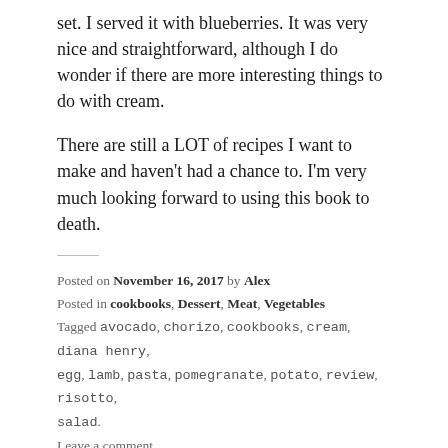set. I served it with blueberries. It was very nice and straightforward, although I do wonder if there are more interesting things to do with cream.
There are still a LOT of recipes I want to make and haven't had a chance to. I'm very much looking forward to using this book to death.
Posted on November 16, 2017 by Alex
Posted in cookbooks, Dessert, Meat, Vegetables
Tagged avocado, chorizo, cookbooks, cream, diana henry, egg, lamb, pasta, pomegranate, potato, review, risotto, salad.
Leave a comment
Acts of Kitchen: Renate and German food